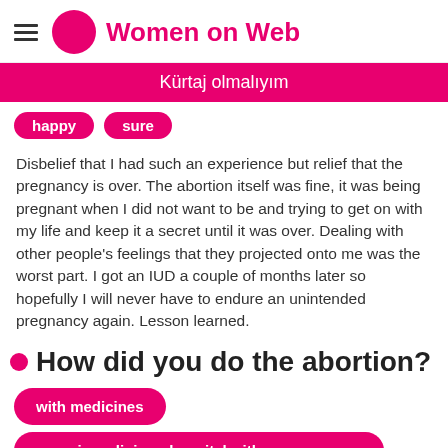Women on Web
Kürtaj olmalıyım
happy
sure
Disbelief that I had such an experience but relief that the pregnancy is over. The abortion itself was fine, it was being pregnant when I did not want to be and trying to get on with my life and keep it a secret until it was over. Dealing with other people's feelings that they projected onto me was the worst part. I got an IUD a couple of months later so hopefully I will never have to endure an unintended pregnancy again. Lesson learned.
How did you do the abortion?
with medicines
in a clinic or hospital with surgery